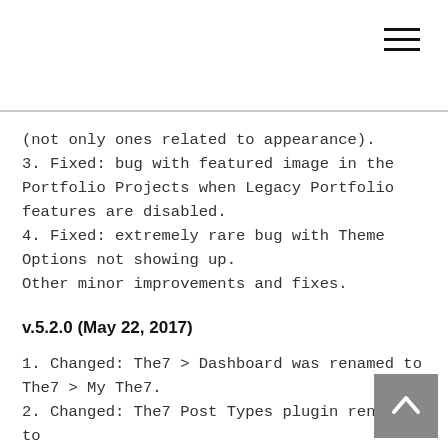(not only ones related to appearance).
3. Fixed: bug with featured image in the Portfolio Projects when Legacy Portfolio features are disabled.
4. Fixed: extremely rare bug with Theme Options not showing up.
Other minor improvements and fixes.
v.5.2.0 (May 22, 2017)
1. Changed: The7 > Dashboard was renamed to The7 > My The7.
2. Changed: The7 Post Types plugin renamed to The7 Elements.
3. New: "Settings" bock on My The7 page: